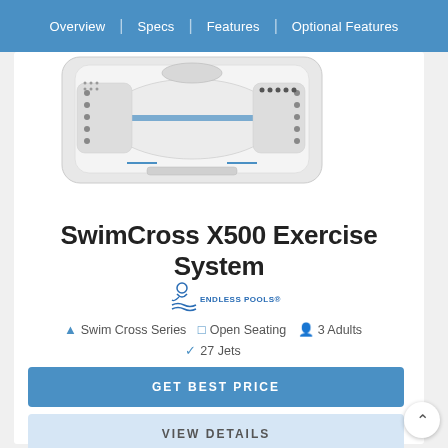Overview | Specs | Features | Optional Features
[Figure (photo): Top-down view of SwimCross X500 Exercise System hot tub/swim spa showing white acrylic shell with blue jets and controls]
SwimCross X500 Exercise System
[Figure (logo): Endless Pools logo with swimmer icon and wave design]
Swim Cross Series  Open Seating  3 Adults  27 Jets
GET BEST PRICE
VIEW DETAILS